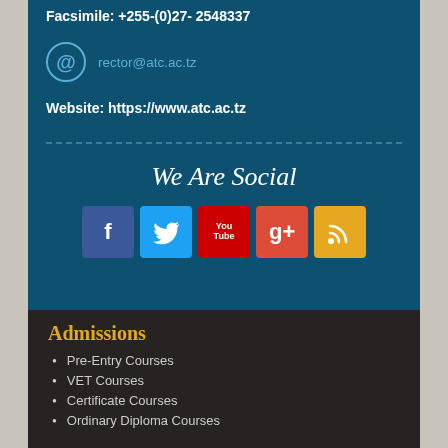Facsimile: +255-(0)27- 2548337
rector@atc.ac.tz
Website: https://www.atc.ac.tz
We Are Social
[Figure (infographic): Social media icons: Facebook, Twitter, YouTube, Google+, RSS feed]
Admissions
Pre-Entry Courses
VET Courses
Certificate Courses
Ordinary Diploma Courses